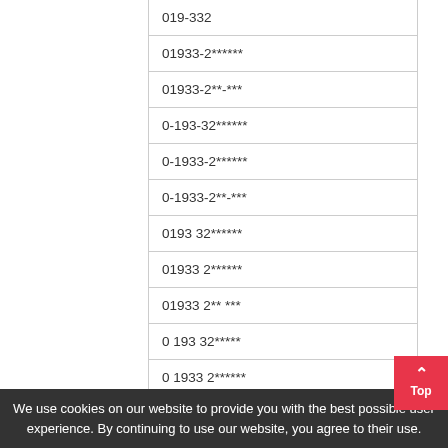| Phone number format |
| --- |
| 019-332 |
| 01933-2****** |
| 01933-2**-*** |
| 0-193-32****** |
| 0-1933-2****** |
| 0-1933-2**-*** |
| 0193 32****** |
| 01933 2****** |
| 01933 2** *** |
| 0 193 32***** |
| 0 1933 2****** |
We use cookies on our website to provide you with the best possible user experience. By continuing to use our website, you agree to their use.